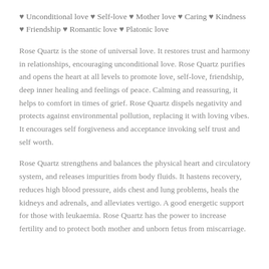♥ Unconditional love ♥ Self-love ♥ Mother love ♥ Caring ♥ Kindness ♥ Friendship ♥ Romantic love ♥ Platonic love
Rose Quartz is the stone of universal love.  It restores trust and harmony in relationships, encouraging unconditional love.  Rose Quartz purifies and opens the heart at all levels to promote love, self-love, friendship, deep inner healing and feelings of peace.  Calming and reassuring, it helps to comfort in times of grief.  Rose Quartz dispels negativity and protects against environmental pollution, replacing it with loving vibes.  It encourages self forgiveness and acceptance invoking self trust and self worth.
Rose Quartz strengthens and balances the physical heart and circulatory system, and releases impurities from body fluids.  It hastens recovery, reduces high blood pressure, aids chest and lung problems, heals the kidneys and adrenals, and alleviates vertigo.  A good energetic support for those with leukaemia.  Rose Quartz has the power to increase fertility and to protect both mother and unborn fetus from miscarriage.